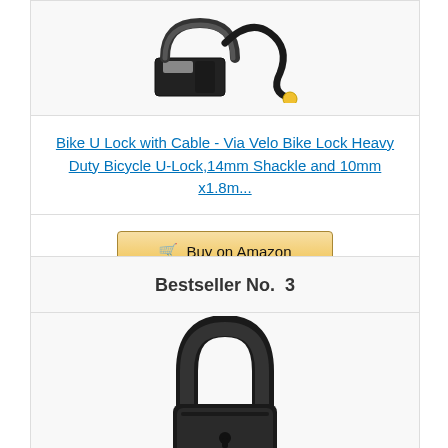[Figure (photo): Bike U-lock with cable - partial product image showing black U-lock body with yellow cable attachment]
Bike U Lock with Cable - Via Velo Bike Lock Heavy Duty Bicycle U-Lock,14mm Shackle and 10mm x1.8m...
[Figure (other): Buy on Amazon button with shopping cart icon]
Bestseller No. 3
[Figure (photo): Master Lock black bicycle U-lock - standalone U-shaped shackle with lock body at bottom]